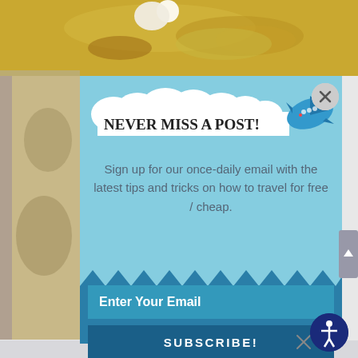[Figure (screenshot): Food photo background at top - yellow/orange colored dish with rice]
NEVER MISS A POST!
Sign up for our once-daily email with the latest tips and tricks on how to travel for free / cheap.
Enter Your Email
SUBSCRIBE!